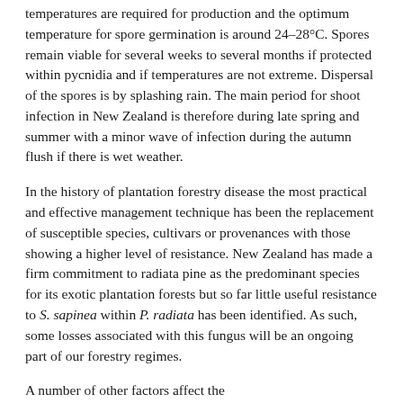temperatures are required for production and the optimum temperature for spore germination is around 24–28°C. Spores remain viable for several weeks to several months if protected within pycnidia and if temperatures are not extreme. Dispersal of the spores is by splashing rain. The main period for shoot infection in New Zealand is therefore during late spring and summer with a minor wave of infection during the autumn flush if there is wet weather.
In the history of plantation forestry disease the most practical and effective management technique has been the replacement of susceptible species, cultivars or provenances with those showing a higher level of resistance. New Zealand has made a firm commitment to radiata pine as the predominant species for its exotic plantation forests but so far little useful resistance to S. sapinea within P. radiata has been identified. As such, some losses associated with this fungus will be an ongoing part of our forestry regimes.
A number of other factors affect...